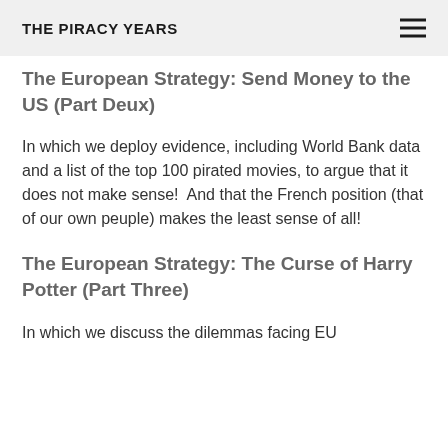THE PIRACY YEARS
The European Strategy: Send Money to the US (Part Deux)
In which we deploy evidence, including World Bank data and a list of the top 100 pirated movies, to argue that it does not make sense!  And that the French position (that of our own peuple) makes the least sense of all!
The European Strategy: The Curse of Harry Potter (Part Three)
In which we discuss the dilemmas facing EU